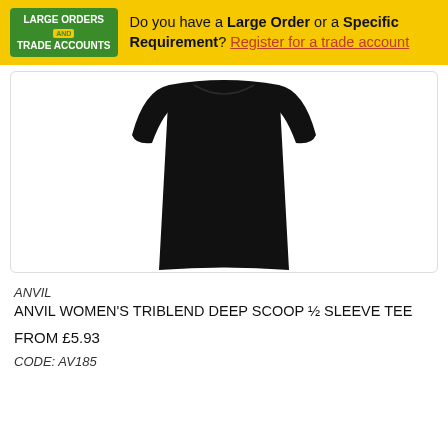Do you have a Large Order or a Specific Requirement? Register for a trade account
[Figure (photo): Black women's triblend deep scoop half sleeve tee shown from front, displayed against white background]
ANVIL
ANVIL WOMEN'S TRIBLEND DEEP SCOOP ½ SLEEVE TEE
FROM £5.93
CODE: AV185